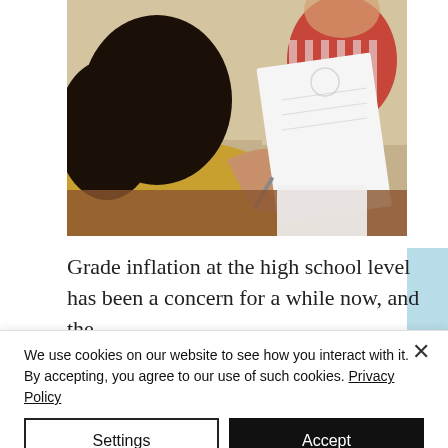[Figure (photo): A student sitting at a desk, holding up a paper/document, writing with a pen. Another student in a red striped shirt is visible in the background. The photo is taken from behind/side angle.]
Grade inflation at the high school level has been a concern for a while now, and the
We use cookies on our website to see how you interact with it. By accepting, you agree to our use of such cookies. Privacy Policy
Settings
Accept